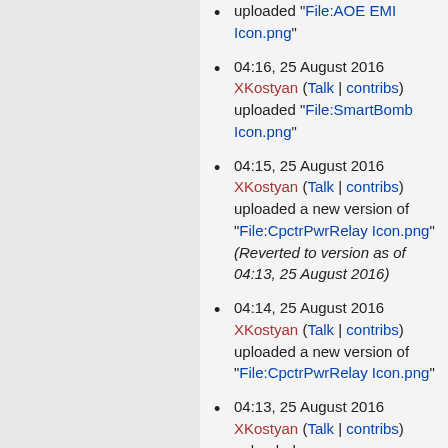uploaded "File:AOE EMI Icon.png"
04:16, 25 August 2016 XKostyan (Talk | contribs) uploaded "File:SmartBomb Icon.png"
04:15, 25 August 2016 XKostyan (Talk | contribs) uploaded a new version of "File:CpctrPwrRelay Icon.png" (Reverted to version as of 04:13, 25 August 2016)
04:14, 25 August 2016 XKostyan (Talk | contribs) uploaded a new version of "File:CpctrPwrRelay Icon.png"
04:13, 25 August 2016 XKostyan (Talk | contribs) uploaded